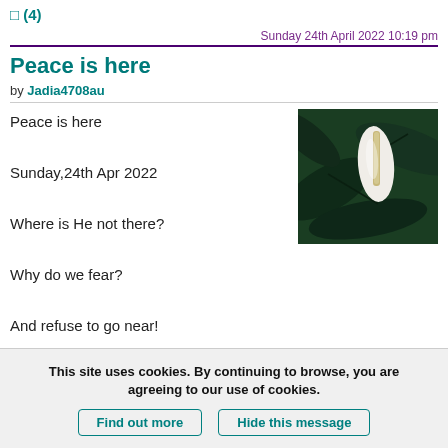□ (4)
Sunday 24th April 2022 10:19 pm
Peace is here
by Jadia4708au
Peace is here
Sunday,24th Apr 2022
Where is He not there?
Why do we fear?
And refuse to go near!
When everything is clear!
[Figure (photo): A white peace lily flower against dark green leaves background]
This site uses cookies. By continuing to browse, you are agreeing to our use of cookies.
Find out more | Hide this message